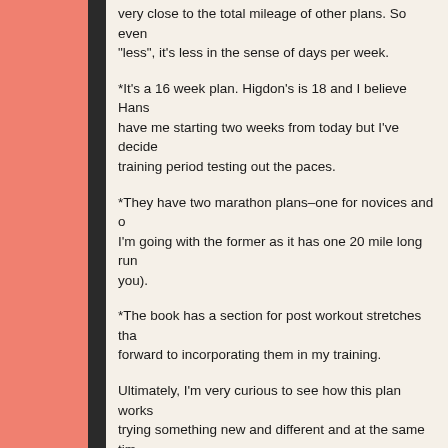very close to the total mileage of other plans. So even if it's "less", it's less in the sense of days per week.
*It's a 16 week plan. Higdon's is 18 and I believe Hansons have me starting two weeks from today but I've decided to use the training period testing out the paces.
*They have two marathon plans–one for novices and one for those. I'm going with the former as it has one 20 mile long run (gasp, I know you).
*The book has a section for post workout stretches that I'm looking forward to incorporating them in my training.
Ultimately, I'm very curious to see how this plan works for me. I love trying something new and different and at the same time know that I'm totally okay with re-evaluating the game plan.
We'll see how it goes! Cheers to the beginning of mara...
–Have you heard of/tried Run Less, Run Faster?